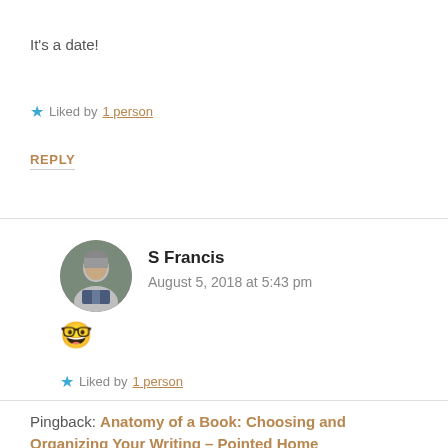It's a date!
★ Liked by 1 person
REPLY
S Francis
August 5, 2018 at 5:43 pm
🤓
★ Liked by 1 person
Pingback: Anatomy of a Book: Choosing and Organizing Your Writing – Pointed Home